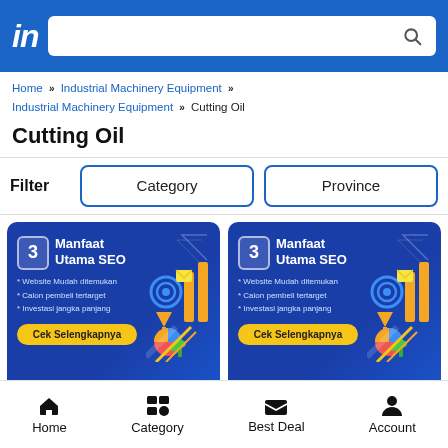in [logo] [search bar]
Home » Industrial Machinery Equipment » Industrial Machinery Equipment » Cutting Oil
Cutting Oil
Filter  Category  Province
[Figure (illustration): Two identical promotional banner ads on blue background. Each shows '3 Manfaat Utama SEO' with bullet points: Website Mudah ditemukan, Calon pembeli tertarget, Investasi jangka panjang, and a yellow 'Cek Selengkapnya' button. SEO-themed graphics with target, charts, and laptop.]
Home  Category  Best Deal  Account